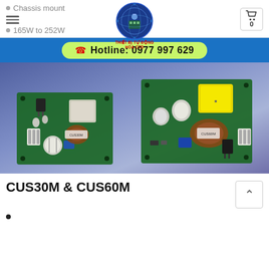Chassis mount
165W to 252W
[Figure (logo): CTD automation equipment logo, circular blue badge with text THIET BI TU DONG HOA CTD]
0
Hotline: 0977 997 629
[Figure (photo): Two open-frame PCB power supply units (CUS30M and CUS60M) on blue/purple background with electronic components including capacitors, inductors, and transformers visible]
CUS30M & CUS60M